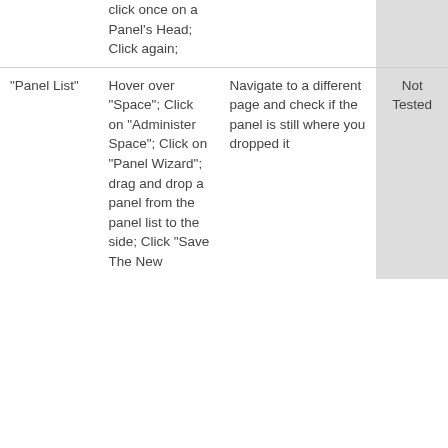|  | click once on a Panel's Head; Click again; |  |  |
| "Panel List" | Hover over "Space"; Click on "Administer Space"; Click on "Panel Wizard"; drag and drop a panel from the panel list to the side; Click "Save The New | Navigate to a different page and check if the panel is still where you dropped it | Not Tested |